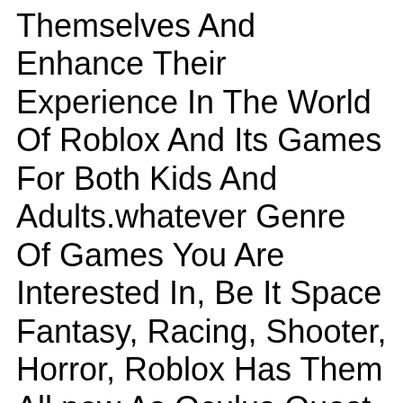Themselves And Enhance Their Experience In The World Of Roblox And Its Games For Both Kids And Adults.whatever Genre Of Games You Are Interested In, Be It Space Fantasy, Racing, Shooter, Horror, Roblox Has Them All.now As Oculus Quest 2 Also Supports Roblox We Will Look At How To Play Roblox On Oculus Quest 2